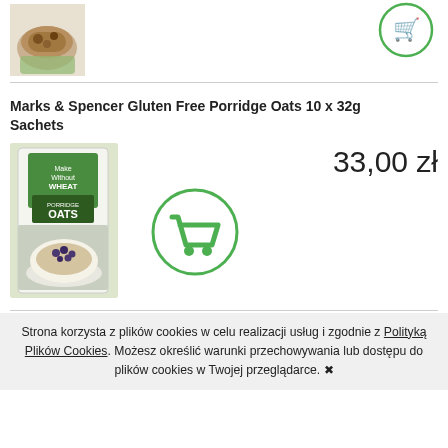[Figure (photo): Product photo of cookies/biscuits with oats - partially visible at top]
[Figure (illustration): Green shopping cart icon circle - partially visible at top right]
Marks & Spencer Gluten Free Porridge Oats 10 x 32g Sachets
33,00 zł
[Figure (photo): Product box of Make Without Wheat Porridge Oats with bowl of oatmeal with blueberries]
[Figure (illustration): Green shopping cart icon in circle]
Strona korzysta z plików cookies w celu realizacji usług i zgodnie z Polityką Plików Cookies. Możesz określić warunki przechowywania lub dostępu do plików cookies w Twojej przeglądarce. ✖